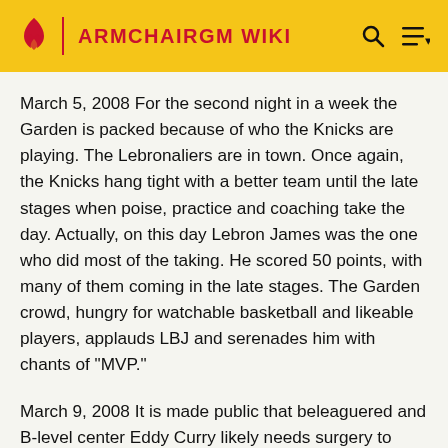ARMCHAIRGM WIKI
March 5, 2008 For the second night in a week the Garden is packed because of who the Knicks are playing. The Lebronaliers are in town. Once again, the Knicks hang tight with a better team until the late stages when poise, practice and coaching take the day. Actually, on this day Lebron James was the one who did most of the taking. He scored 50 points, with many of them coming in the late stages. The Garden crowd, hungry for watchable basketball and likeable players, applauds LBJ and serenades him with chants of "MVP."
March 9, 2008 It is made public that beleaguered and B-level center Eddy Curry likely needs surgery to repair torn cartilage in his knee.